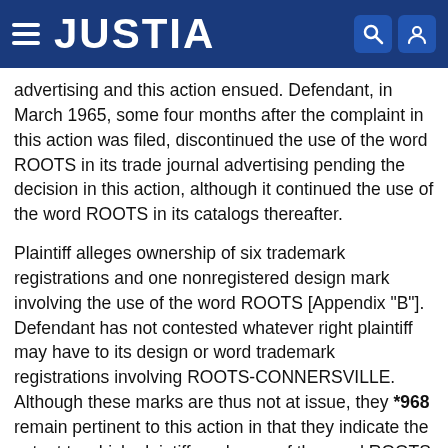JUSTIA
advertising and this action ensued. Defendant, in March 1965, some four months after the complaint in this action was filed, discontinued the use of the word ROOTS in its trade journal advertising pending the decision in this action, although it continued the use of the word ROOTS in its catalogs thereafter.
Plaintiff alleges ownership of six trademark registrations and one nonregistered design mark involving the use of the word ROOTS [Appendix "B"]. Defendant has not contested whatever right plaintiff may have to its design or word trademark registrations involving ROOTS-CONNERSVILLE. Although these marks are thus not at issue, they *968 remain pertinent to this action in that they indicate the extent to which plaintiff made use of the word ROOTS in the years following the Roots-Connersville merger in 1929. It is clear that prior to the